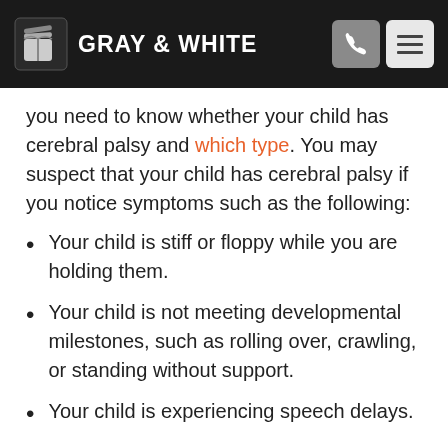GRAY & WHITE
you need to know whether your child has cerebral palsy and which type. You may suspect that your child has cerebral palsy if you notice symptoms such as the following:
Your child is stiff or floppy while you are holding them.
Your child is not meeting developmental milestones, such as rolling over, crawling, or standing without support.
Your child is experiencing speech delays.